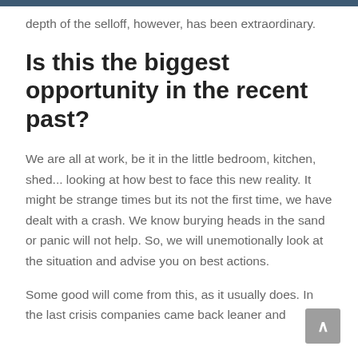depth of the selloff, however, has been extraordinary.
Is this the biggest opportunity in the recent past?
We are all at work, be it in the little bedroom, kitchen, shed... looking at how best to face this new reality. It might be strange times but its not the first time, we have dealt with a crash. We know burying heads in the sand or panic will not help. So, we will unemotionally look at the situation and advise you on best actions.
Some good will come from this, as it usually does. In the last crisis companies came back leaner and